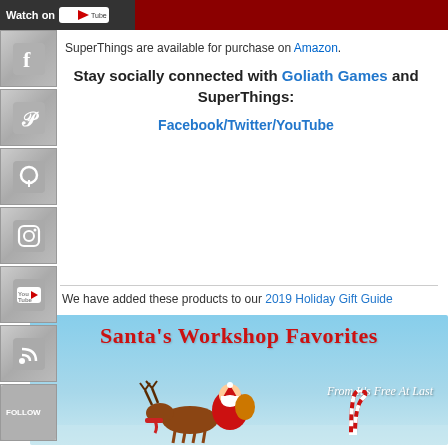[Figure (screenshot): Top banner with Watch on YouTube text on dark red background]
SuperThings are available for purchase on Amazon.
Stay socially connected with Goliath Games and SuperThings:
Facebook/Twitter/YouTube
We have added these products to our 2019 Holiday Gift Guide
[Figure (illustration): Santa's Workshop Favorites holiday gift guide banner with Santa Claus riding reindeer on blue sky background, text reads 'From It's Free At Last']